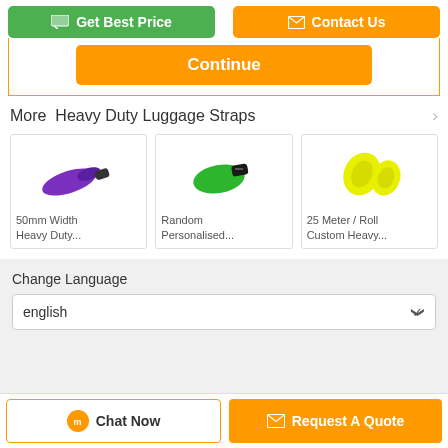[Figure (screenshot): Top action buttons: green 'Get Best Price' and orange 'Contact Us']
[Figure (screenshot): Orange 'Continue' button inside orange-bordered box]
More  Heavy Duty Luggage Straps
[Figure (photo): 50mm Width Heavy Duty purple luggage strap product thumbnail]
50mm Width Heavy Duty...
[Figure (photo): Random Personalised green strap product thumbnail]
Random Personalised...
[Figure (photo): 25 Meter / Roll Custom Heavy yellow strap product thumbnail]
25 Meter / Roll Custom Heavy...
Change Language
english
[Figure (screenshot): Bottom bar with 'Chat Now' and 'Request A Quote' buttons]